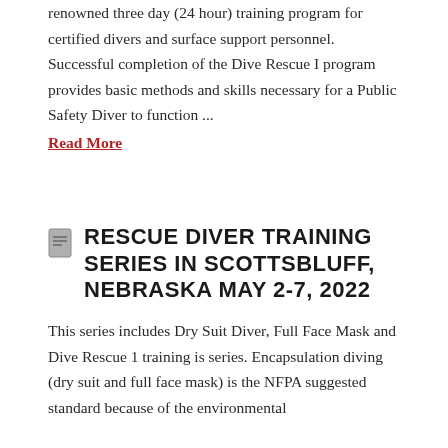renowned three day (24 hour) training program for certified divers and surface support personnel. Successful completion of the Dive Rescue I program provides basic methods and skills necessary for a Public Safety Diver to function ...
Read More
RESCUE DIVER TRAINING SERIES IN SCOTTSBLUFF, NEBRASKA MAY 2-7, 2022
This series includes Dry Suit Diver, Full Face Mask and Dive Rescue 1 training is series. Encapsulation diving (dry suit and full face mask) is the NFPA suggested standard because of the environmental